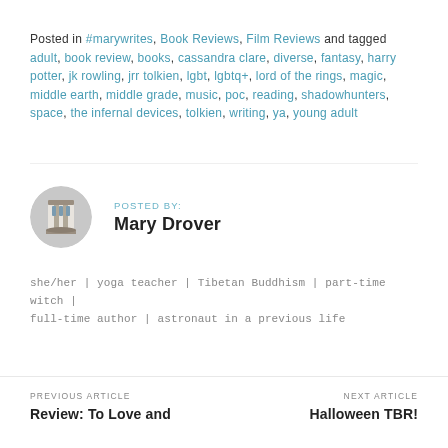Posted in #marywrites, Book Reviews, Film Reviews and tagged adult, book review, books, cassandra clare, diverse, fantasy, harry potter, jk rowling, jrr tolkien, lgbt, lgbtq+, lord of the rings, magic, middle earth, middle grade, music, poc, reading, shadowhunters, space, the infernal devices, tolkien, writing, ya, young adult
POSTED BY:
Mary Drover
[Figure (photo): Circular avatar image showing a building with columns]
she/her | yoga teacher | Tibetan Buddhism | part-time witch | full-time author | astronaut in a previous life
PREVIOUS ARTICLE
Review: To Love and
NEXT ARTICLE
Halloween TBR!